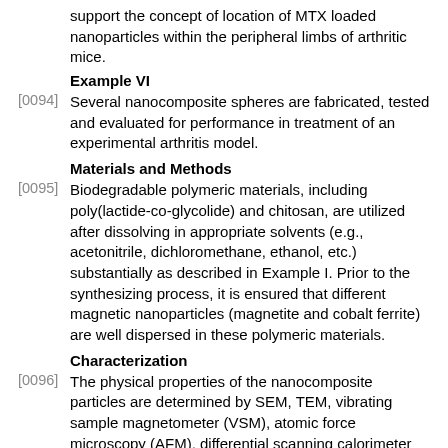support the concept of location of MTX loaded nanoparticles within the peripheral limbs of arthritic mice.
Example VI
[0094] Several nanocomposite spheres are fabricated, tested and evaluated for performance in treatment of an experimental arthritis model.
Materials and Methods
[0095] Biodegradable polymeric materials, including poly(lactide-co-glycolide) and chitosan, are utilized after dissolving in appropriate solvents (e.g., acetonitrile, dichloromethane, ethanol, etc.) substantially as described in Example I. Prior to the synthesizing process, it is ensured that different magnetic nanoparticles (magnetite and cobalt ferrite) are well dispersed in these polymeric materials.
Characterization
[0096] The physical properties of the nanocomposite particles are determined by SEM, TEM, vibrating sample magnetometer (VSM), atomic force microscopy (AFM), differential scanning calorimeter (DSC), thermogravimetric analysis